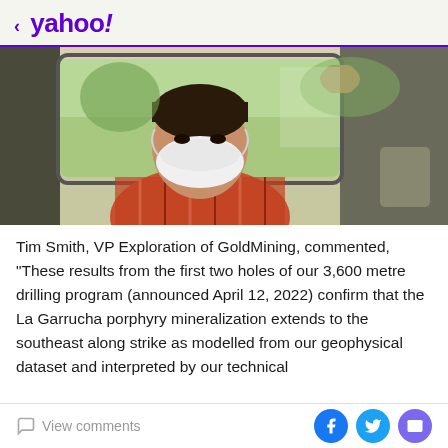< yahoo!
[Figure (photo): A person wearing a white face mask leaning out of a car window, wearing a plaid shirt, with one hand on the roof of the car. Outdoor background visible.]
Tim Smith, VP Exploration of GoldMining, commented, "These results from the first two holes of our 3,600 metre drilling program (announced April 12, 2022) confirm that the La Garrucha porphyry mineralization extends to the southeast along strike as modelled from our geophysical dataset and interpreted by our technical
View comments